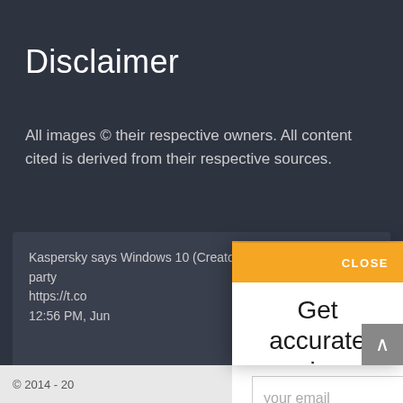Disclaimer
All images © their respective owners. All content cited is derived from their respective sources.
Kaspersky says Windows 10 (Creator Update) disable third-party... https://t.co... 12:56 PM, Jun...
Follow @
[Figure (screenshot): Modal popup with orange header showing CLOSE button, headline 'Get accurate reviews in your inbox', email input field with placeholder 'your email', and orange 'Subscribe to newsletter' button]
© 2014 - 20... 706